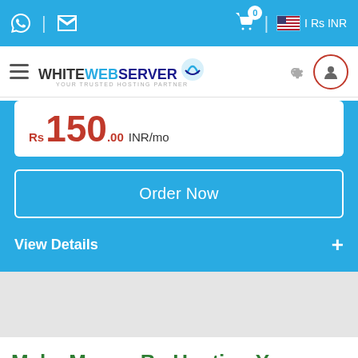WhiteWebServer — I Rs INR
Rs 150.00 INR/mo
Order Now
View Details +
Make Money By Hosting Your Own